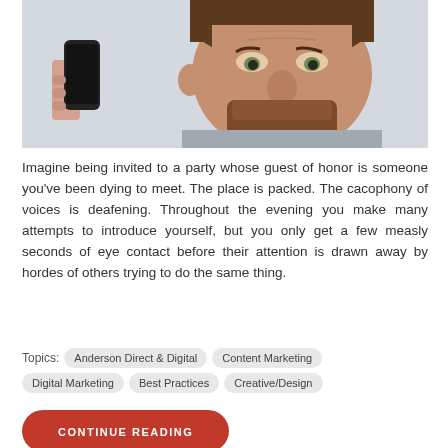[Figure (photo): A bearded man with a confused or annoyed expression, while a woman's hand holds a smartphone up to his ear.]
Imagine being invited to a party whose guest of honor is someone you've been dying to meet. The place is packed. The cacophony of voices is deafening. Throughout the evening you make many attempts to introduce yourself, but you only get a few measly seconds of eye contact before their attention is drawn away by hordes of others trying to do the same thing.
Topics:  Anderson Direct & Digital  Content Marketing  Digital Marketing  Best Practices  Creative/Design
CONTINUE READING